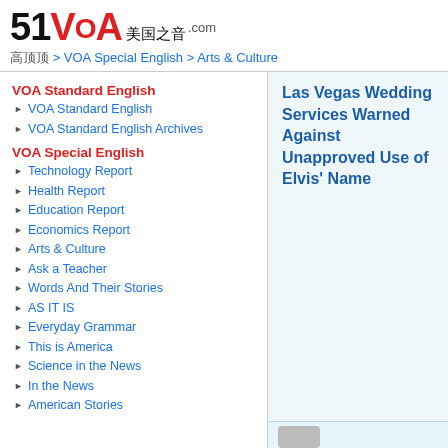[Figure (logo): 51VOA 美国之音 .com logo with red VOA text]
首页 > VOA Special English > Arts & Culture
VOA Standard English
VOA Standard English
VOA Standard English Archives
VOA Special English
Technology Report
Health Report
Education Report
Economics Report
Arts & Culture
Ask a Teacher
Words And Their Stories
AS IT IS
Everyday Grammar
This is America
Science in the News
In the News
American Stories
Las Vegas Wedding Services Warned Against Unapproved Use of Elvis' Name